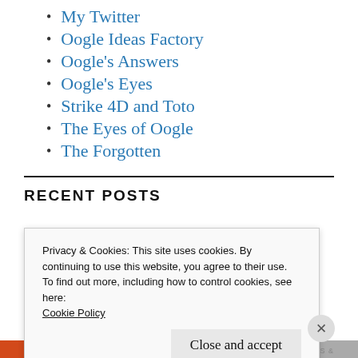My Twitter
Oogle Ideas Factory
Oogle's Answers
Oogle's Eyes
Strike 4D and Toto
The Eyes of Oogle
The Forgotten
RECENT POSTS
Privacy & Cookies: This site uses cookies. By continuing to use this website, you agree to their use.
To find out more, including how to control cookies, see here:
Cookie Policy
Close and accept